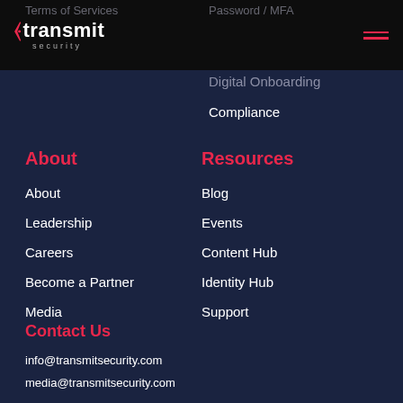Terms of Services | Password / MFA
[Figure (logo): Transmit Security logo - white text with red icon on black background]
Digital Onboarding
Compliance
About
About
Leadership
Careers
Become a Partner
Media
Resources
Blog
Events
Content Hub
Identity Hub
Support
Contact Us
info@transmitsecurity.com
media@transmitsecurity.com